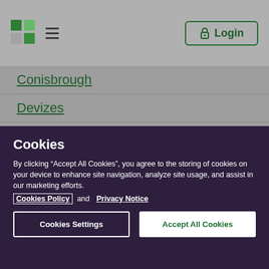Logo and Login header
Conisbrough
Devizes
Downend
Driffield
Dumfries
Cookies
By clicking “Accept All Cookies”, you agree to the storing of cookies on your device to enhance site navigation, analyze site usage, and assist in our marketing efforts. Cookies Policy and Privacy Notice
Cookies Settings  Accept All Cookies